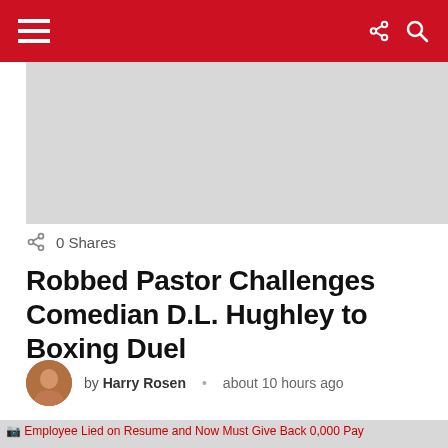Navigation bar with hamburger menu, share icon, and search icon
[Figure (other): Gray advertisement/banner placeholder area]
0 Shares
Robbed Pastor Challenges Comedian D.L. Hughley to Boxing Duel
by Harry Rosen • about 10 hours ago
[Figure (photo): Broken image placeholder with alt text: Employee Lied on Resume and Now Must Give Back 0,000 Pay]